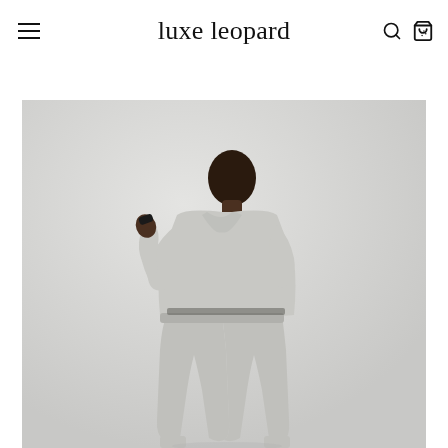luxe leopard
[Figure (photo): A model wearing a light grey sweatshirt and matching grey jogger pants, looking downward with one arm raised, photographed against a light grey background.]